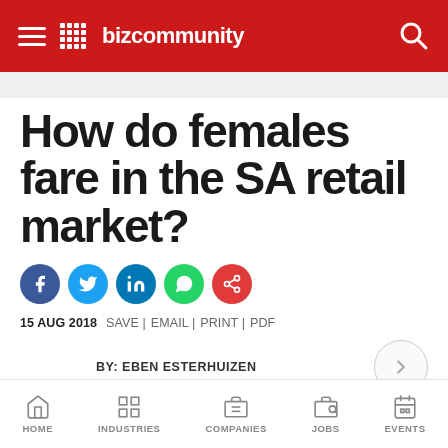Bizcommunity
How do females fare in the SA retail market?
15 AUG 2018  SAVE | EMAIL | PRINT | PDF
BY: EBEN ESTERHUIZEN
HOME  INDUSTRIES  COMPANIES  JOBS  EVENTS